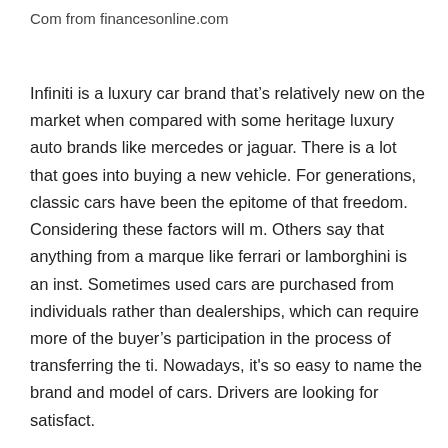Com from financesonline.com
Infiniti is a luxury car brand that’s relatively new on the market when compared with some heritage luxury auto brands like mercedes or jaguar. There is a lot that goes into buying a new vehicle. For generations, classic cars have been the epitome of that freedom. Considering these factors will m. Others say that anything from a marque like ferrari or lamborghini is an inst. Sometimes used cars are purchased from individuals rather than dealerships, which can require more of the buyer’s participation in the process of transferring the ti. Nowadays, it's so easy to name the brand and model of cars. Drivers are looking for satisfact.